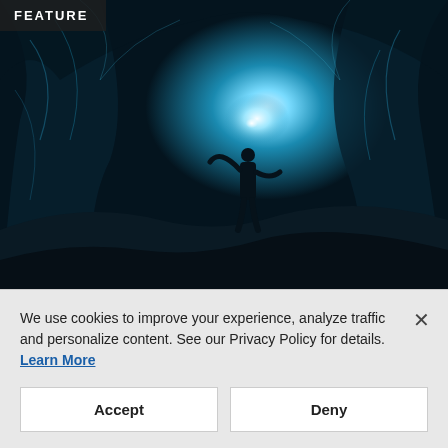[Figure (photo): A person standing inside a glowing blue ice cave, arms raised, with dramatic blue and teal light emanating from the cave exit, ice formations surrounding the silhouette.]
FEATURE
CUSTOMER EXPERIENCE
Is It Really Time for Customer
We use cookies to improve your experience, analyze traffic and personalize content. See our Privacy Policy for details.
Learn More
Accept
Deny